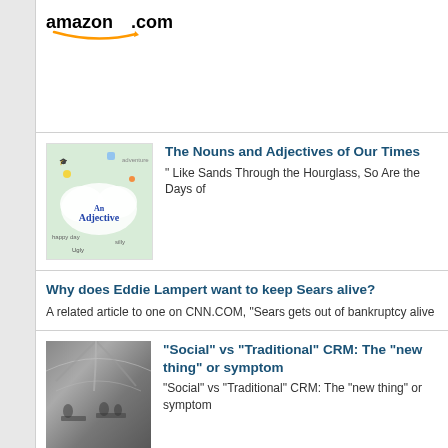[Figure (logo): Amazon.com logo with orange swoosh]
[Figure (illustration): Colorful book cover: An Adjective, with illustrated adjective word cloud]
The Nouns and Adjectives of Our Times
" Like Sands Through the Hourglass, So Are the Days of
Why does Eddie Lampert want to keep Sears alive?
A related article to one on CNN.COM, "Sears gets out of bankruptcy alive
[Figure (photo): Black and white historical photo of indoor market or restaurant scene]
“Social” vs “Traditional” CRM: The “new thing” or symptom
“Social” vs “Traditional” CRM: The “new thing” or symptom